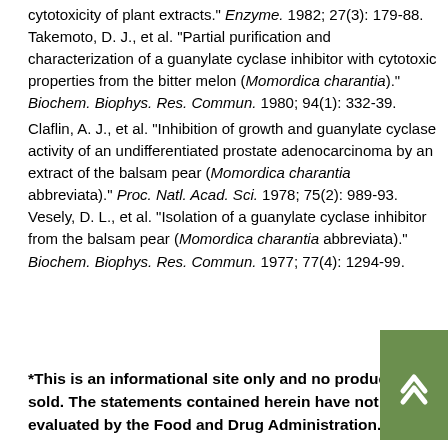cytotoxicity of plant extracts." Enzyme. 1982; 27(3): 179-88. Takemoto, D. J., et al. "Partial purification and characterization of a guanylate cyclase inhibitor with cytotoxic properties from the bitter melon (Momordica charantia)." Biochem. Biophys. Res. Commun. 1980; 94(1): 332-39.
Claflin, A. J., et al. "Inhibition of growth and guanylate cyclase activity of an undifferentiated prostate adenocarcinoma by an extract of the balsam pear (Momordica charantia abbreviata)." Proc. Natl. Acad. Sci. 1978; 75(2): 989-93.
Vesely, D. L., et al. "Isolation of a guanylate cyclase inhibitor from the balsam pear (Momordica charantia abbreviata)." Biochem. Biophys. Res. Commun. 1977; 77(4): 1294-99.
*This is an informational site only and no product sold. The statements contained herein have not evaluated by the Food and Drug Administration. The